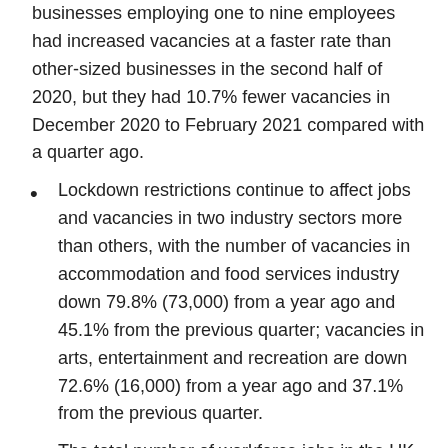businesses employing one to nine employees had increased vacancies at a faster rate than other-sized businesses in the second half of 2020, but they had 10.7% fewer vacancies in December 2020 to February 2021 compared with a quarter ago.
Lockdown restrictions continue to affect jobs and vacancies in two industry sectors more than others, with the number of vacancies in accommodation and food services industry down 79.8% (73,000) from a year ago and 45.1% from the previous quarter; vacancies in arts, entertainment and recreation are down 72.6% (16,000) from a year ago and 37.1% from the previous quarter.
The total number of workforce jobs in the UK in